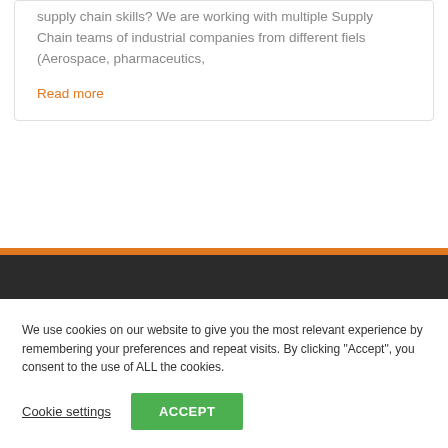supply chain skills? We are working with multiple Supply Chain teams of industrial companies from different fiels (Aerospace, pharmaceutics,
Read more
We use cookies on our website to give you the most relevant experience by remembering your preferences and repeat visits. By clicking “Accept”, you consent to the use of ALL the cookies.
Cookie settings
ACCEPT